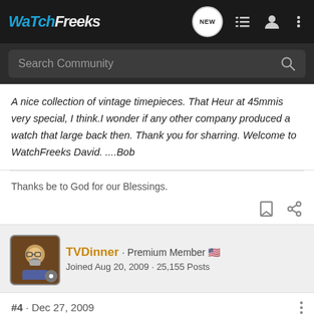WatchFreeks – Search Community
A nice collection of vintage timepieces. That Heur at 45mmis very special, I think.I wonder if any other company produced a watch that large back then. Thank you for sharring. Welcome to WatchFreeks David. ....Bob
Thanks be to God for our Blessings.
TVDinner · Premium Member · Joined Aug 20, 2009 · 25,155 Posts
#4 · Dec 27, 2009